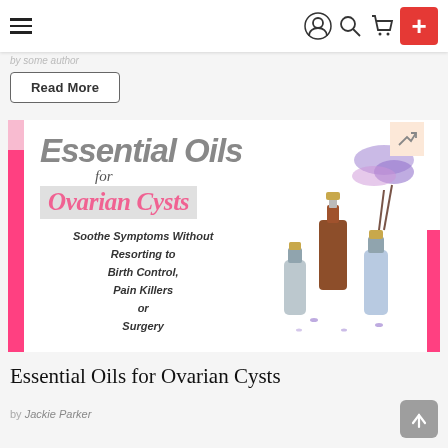Navigation bar with hamburger menu, user icon, search icon, cart icon, and red plus button
by some author
Read More
[Figure (illustration): Promotional image for 'Essential Oils for Ovarian Cysts' with text overlay: 'Essential Oils for Ovarian Cysts - Soothe Symptoms Without Resorting to Birth Control, Pain Killers or Surgery'. Shows essential oil bottles and lavender on a white background with pink accent bars.]
Essential Oils for Ovarian Cysts
by Jackie Parker